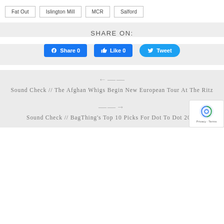Fat Out
Islington Mill
MCR
Salford
SHARE ON:
[Figure (infographic): Social share buttons: Facebook Share 0, Like 0, Tweet]
Sound Check // The Afghan Whigs Begin New European Tour At The Ritz
Sound Check // BagThing's Top 10 Picks For Dot To Dot 2017